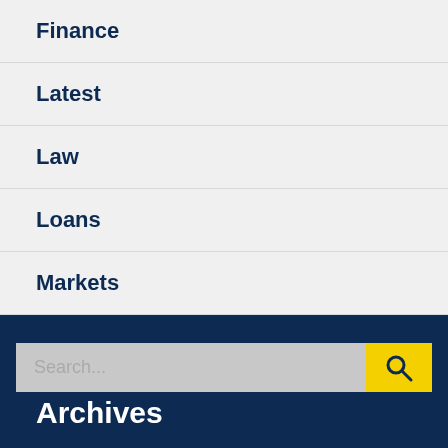Finance
Latest
Law
Loans
Markets
Search...
Archives